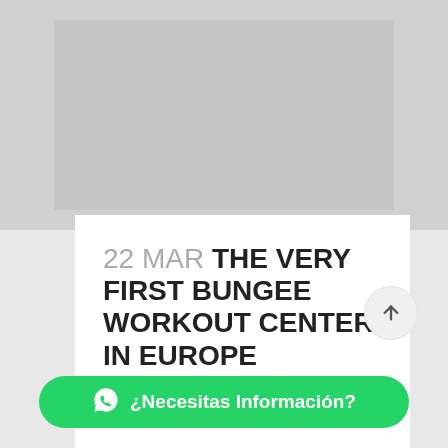[Figure (photo): Background image of people doing bungee workout, shown in light gray tones]
22 MAR THE VERY FIRST BUNGEE WORKOUT CENTER IN EUROPE
Posted at 12:42h in Bungee Workout by GraSecury · 0 Comments · 0 Likes
The entrepreneur María Maza Andre… very first center for Bungee